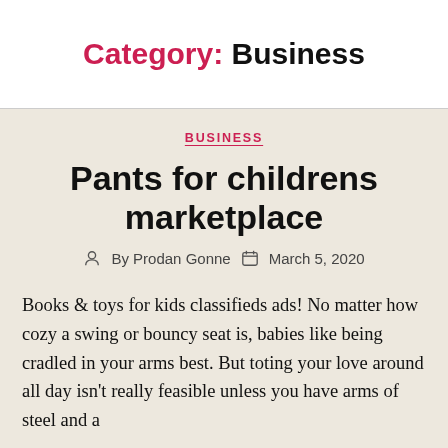Category: Business
BUSINESS
Pants for childrens marketplace
By Prodan Gonne   March 5, 2020
Books & toys for kids classifieds ads! No matter how cozy a swing or bouncy seat is, babies like being cradled in your arms best. But toting your love around all day isn't really feasible unless you have arms of steel and a